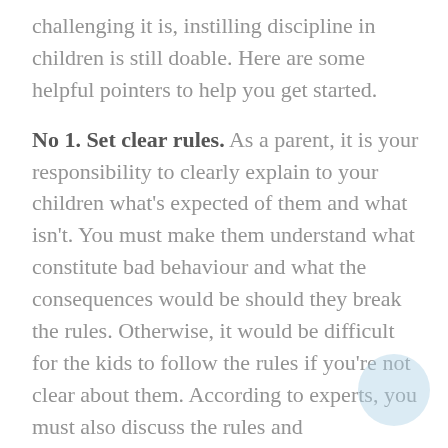challenging it is, instilling discipline in children is still doable. Here are some helpful pointers to help you get started.
No 1. Set clear rules. As a parent, it is your responsibility to clearly explain to your children what's expected of them and what isn't. You must make them understand what constitute bad behaviour and what the consequences would be should they break the rules. Otherwise, it would be difficult for the kids to follow the rules if you're not clear about them. According to experts, you must also discuss the rules and consequences with your kids when you have the time, not only when one or two of them has been broken. This will help your